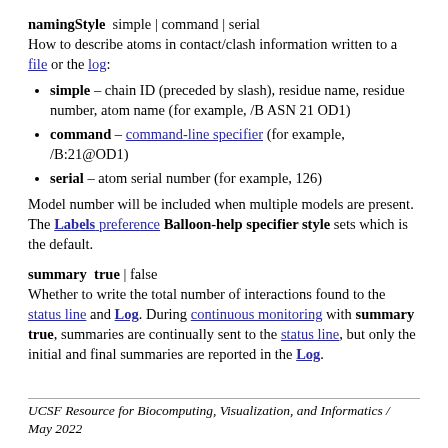namingStyle  simple | command | serial
How to describe atoms in contact/clash information written to a file or the log:
simple – chain ID (preceded by slash), residue name, residue number, atom name (for example, /B ASN 21 OD1)
command – command-line specifier (for example, /B:21@OD1)
serial – atom serial number (for example, 126)
Model number will be included when multiple models are present. The Labels preference Balloon-help specifier style sets which is the default.
summary  true | false
Whether to write the total number of interactions found to the status line and Log. During continuous monitoring with summary true, summaries are continually sent to the status line, but only the initial and final summaries are reported in the Log.
UCSF Resource for Biocomputing, Visualization, and Informatics / May 2022